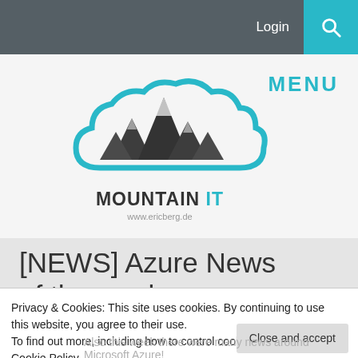Login
[Figure (logo): Mountain IT logo: mountain peaks inside a blue cloud shape, with text MOUNTAIN IT and www.ericberg.de below]
MENU
[NEWS] Azure News of the week
Privacy & Cookies: This site uses cookies. By continuing to use this website, you agree to their use.
To find out more, including how to control cookies, see here: Cookie Policy
Also this week there were many news around Microsoft Azure!